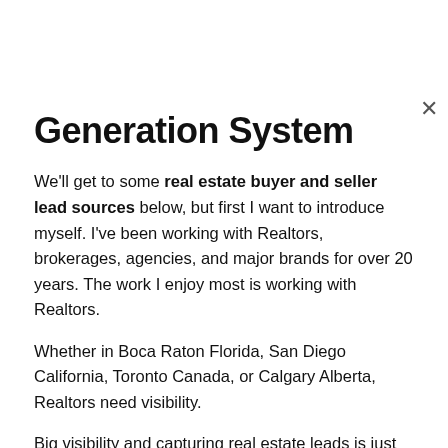Generation System
We'll get to some real estate buyer and seller lead sources below, but first I want to introduce myself. I've been working with Realtors, brokerages, agencies, and major brands for over 20 years. The work I enjoy most is working with Realtors.
Whether in Boca Raton Florida, San Diego California, Toronto Canada, or Calgary Alberta, Realtors need visibility.
Big visibility and capturing real estate leads is just two parts of complex sales success equation, however they